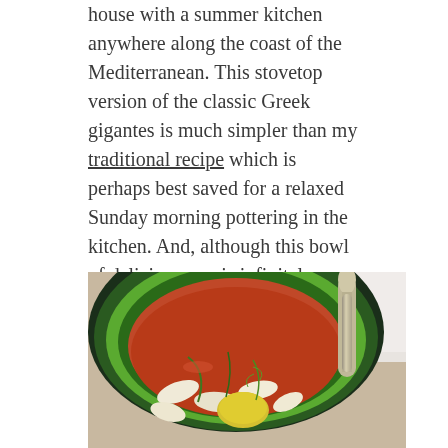house with a summer kitchen anywhere along the coast of the Mediterranean. This stovetop version of the classic Greek gigantes is much simpler than my traditional recipe which is perhaps best saved for a relaxed Sunday morning pottering in the kitchen. And, although this bowl of deliciousness is infinitely better made with dried gigantes – as I've done here – you can of course use canned beans if you need to get it on the table within half an hour. That's my kind of fast food.
[Figure (photo): A green decorative ceramic bowl filled with gigantes (large white beans) in a tomato-based sauce with herbs and vegetables, accompanied by a silver spoon on a white napkin.]